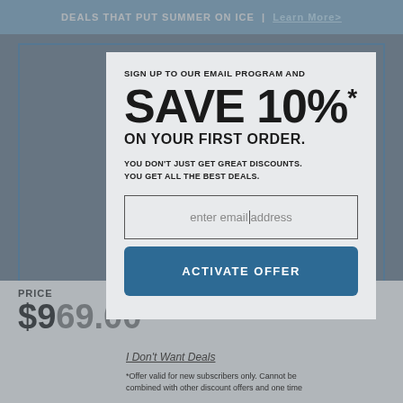DEALS THAT PUT SUMMER ON ICE | Learn More>
SIGN UP TO OUR EMAIL PROGRAM AND SAVE 10%* ON YOUR FIRST ORDER.
YOU DON'T JUST GET GREAT DISCOUNTS. YOU GET ALL THE BEST DEALS.
enter email address
ACTIVATE OFFER
I Don't Want Deals
*Offer valid for new subscribers only. Cannot be combined with other discount offers and one time
PRICE
$969.00